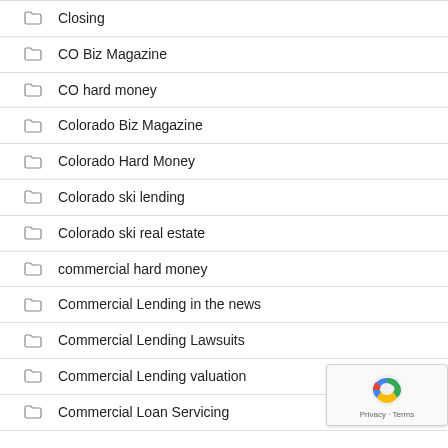Closing
CO Biz Magazine
CO hard money
Colorado Biz Magazine
Colorado Hard Money
Colorado ski lending
Colorado ski real estate
commercial hard money
Commercial Lending in the news
Commercial Lending Lawsuits
Commercial Lending valuation
Commercial Loan Servicing